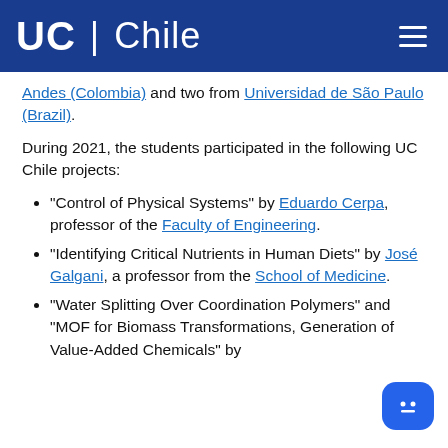UC | Chile
Andes (Colombia) and two from Universidad de São Paulo (Brazil).
During 2021, the students participated in the following UC Chile projects:
"Control of Physical Systems" by Eduardo Cerpa, professor of the Faculty of Engineering.
"Identifying Critical Nutrients in Human Diets" by José Galgani, a professor from the School of Medicine.
"Water Splitting Over Coordination Polymers" and "MOF for Biomass Transformations, Generation of Value-Added Chemicals" by